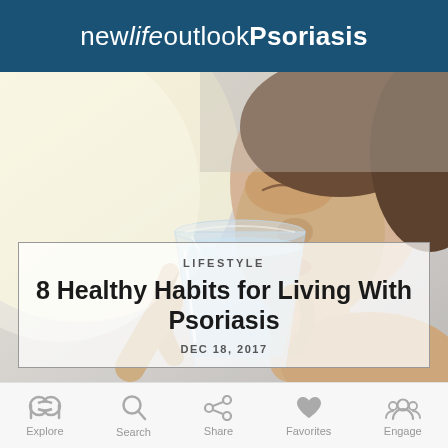new life outlook Psoriasis
[Figure (photo): Close-up of a woman drinking from a clear glass of water, soft focus background with warm light on the left side]
LIFESTYLE
8 Healthy Habits for Living With Psoriasis
DEC 18, 2017
Explore  Search  Share  Favorites  Engage